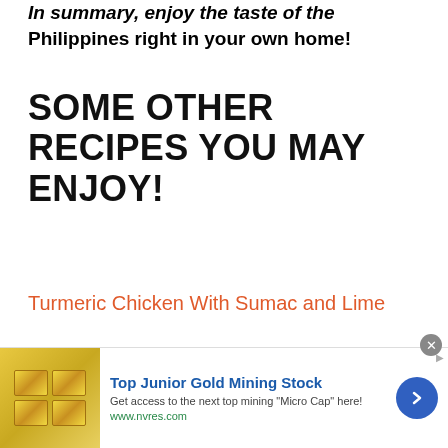In summary, enjoy the taste of the Philippines right in your own home!
SOME OTHER RECIPES YOU MAY ENJOY!
Turmeric Chicken With Sumac and Lime
[Figure (photo): Photo of a plate with dark grilled chicken and green salad garnish]
[Figure (photo): Advertisement banner: Top Junior Gold Mining Stock. Get access to the next top mining 'Micro Cap' here! www.nvres.com]